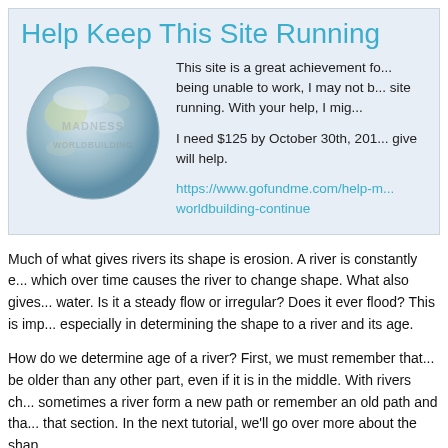Help Keep This Site Running
[Figure (illustration): A globe/Earth image with text 'MADNESS WORLDBUILDING' overlaid in a faded style]
This site is a great achievement fo... being unable to work, I may not b... site running. With your help, I mig...
I need $125 by October 30th, 201... give will help.
https://www.gofundme.com/help-m... worldbuilding-continue
Much of what gives rivers its shape is erosion. A river is constantly e... which over time causes the river to change shape. What also gives... water. Is it a steady flow or irregular? Does it ever flood? This is imp... especially in determining the shape to a river and its age.
How do we determine age of a river? First, we must remember that... be older than any other part, even if it is in the middle. With rivers ch... sometimes a river form a new path or remember an old path and tha... that section. In the next tutorial, we'll go over more about the shap...